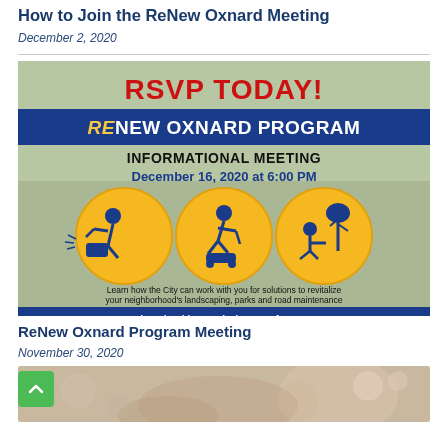How to Join the ReNew Oxnard Meeting
December 2, 2020
[Figure (infographic): RSVP Today flyer for ReNew Oxnard Program Informational Meeting on December 16, 2020 at 6:00 PM. Features three yellow circles with blue icons of workers doing landscaping, lawn mowing, and tree planting. Text: Learn how the City can work with you for solutions to revitalize your neighborhood's landscaping, parks and road maintenance. Join us by video or telephone conference at CivicMic.com/Oxnard]
ReNew Oxnard Program Meeting
November 30, 2020
[Figure (photo): Partial photo showing hands, blurred background with bokeh lights]